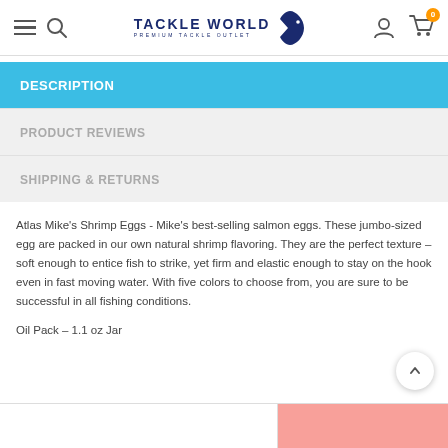Tackle World — Premium Tackle Outlet — navigation bar with hamburger menu, search, logo, user icon, cart (0)
DESCRIPTION
PRODUCT REVIEWS
SHIPPING & RETURNS
Atlas Mike's Shrimp Eggs - Mike's best-selling salmon eggs. These jumbo-sized egg are packed in our own natural shrimp flavoring. They are the perfect texture – soft enough to entice fish to strike, yet firm and elastic enough to stay on the hook even in fast moving water. With five colors to choose from, you are sure to be successful in all fishing conditions.
Oil Pack – 1.1 oz Jar